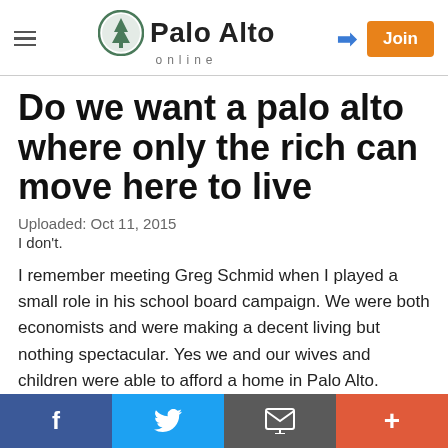Palo Alto online
Do we want a palo alto where only the rich can move here to live
Uploaded: Oct 11, 2015
I don't.
I remember meeting Greg Schmid when I played a small role in his school board campaign. We were both economists and were making a decent living but nothing spectacular. Yes we and our wives and children were able to afford a home in Palo Alto.
Share: Facebook, Twitter, Email, More